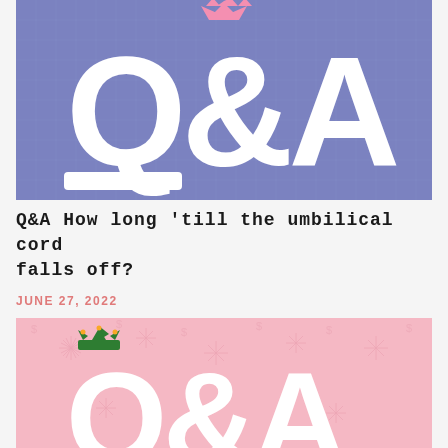[Figure (illustration): Blue/purple grid background with large white 'Q&A' text and a pink crown at the top]
Q&A How long 'till the umbilical cord falls off?
JUNE 27, 2022
[Figure (illustration): Pink background with decorative sun/star pattern, large white 'Q&A' text beginning to show, green crown on top of the Q]